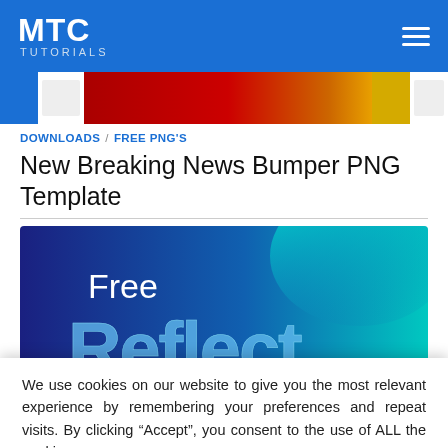MTC TUTORIALS
[Figure (screenshot): Thumbnail strip showing a red/orange gradient banner with a page icon on the left]
DOWNLOADS / FREE PNG'S
New Breaking News Bumper PNG Template
[Figure (screenshot): Feature image with dark blue to teal gradient background showing the text 'Free' and 'Reflect' in large letters]
We use cookies on our website to give you the most relevant experience by remembering your preferences and repeat visits. By clicking “Accept”, you consent to the use of ALL the cookies.
Do not sell my personal information.
Cookie Settings   Accept